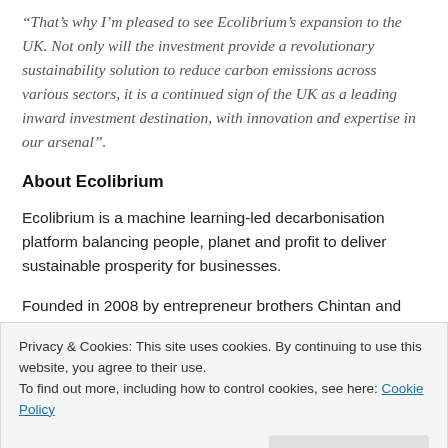“That’s why I’m pleased to see Ecolibrium’s expansion to the UK. Not only will the investment provide a revolutionary sustainability solution to reduce carbon emissions across various sectors, it is a continued sign of the UK as a leading inward investment destination, with innovation and expertise in our arsenal”.
About Ecolibrium
Ecolibrium is a machine learning-led decarbonisation platform balancing people, planet and profit to deliver sustainable prosperity for businesses.
Founded in 2008 by entrepreneur brothers Chintan and Harit Soni, Ecolibrium provides expert advisory as well as
Privacy & Cookies: This site uses cookies. By continuing to use this website, you agree to their use.
To find out more, including how to control cookies, see here: Cookie Policy
150 companies including JLL, Amazon, Fiat, Honeywell